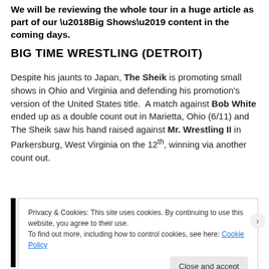We will be reviewing the whole tour in a huge article as part of our ‘Big Shows’ content in the coming days.
BIG TIME WRESTLING (DETROIT)
Despite his jaunts to Japan, The Sheik is promoting small shows in Ohio and Virginia and defending his promotion’s version of the United States title.  A match against Bob White ended up as a double count out in Marietta, Ohio (6/11) and The Sheik saw his hand raised against Mr. Wrestling II in Parkersburg, West Virginia on the 12th, winning via another count out.
Privacy & Cookies: This site uses cookies. By continuing to use this website, you agree to their use. To find out more, including how to control cookies, see here: Cookie Policy
Close and accept